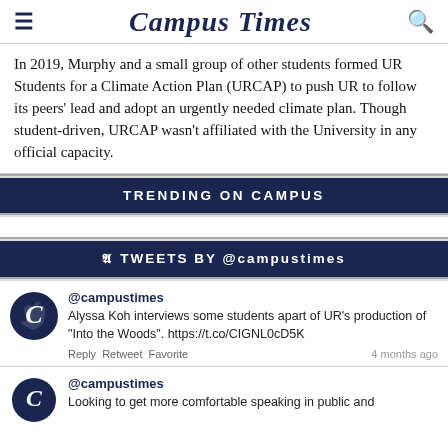Campus Times
In 2019, Murphy and a small group of other students formed UR Students for a Climate Action Plan (URCAP) to push UR to follow its peers' lead and adopt an urgently needed climate plan. Though student-driven, URCAP wasn't affiliated with the University in any official capacity.
TRENDING ON CAMPUS
TWEETS BY @campustimes
@campustimes
Alyssa Koh interviews some students apart of UR's production of "Into the Woods". https://t.co/CIGNL0cD5K
Reply Retweet Favorite
4 months ago
@campustimes
Looking to get more comfortable speaking in public and